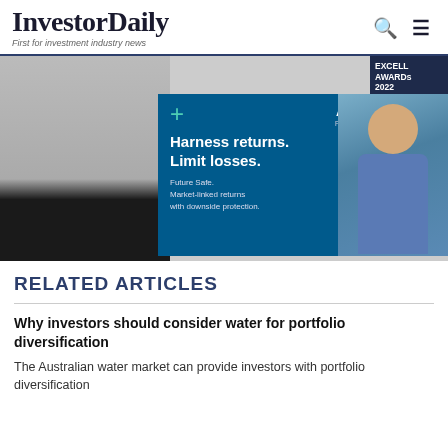InvestorDaily – First for investment industry news
[Figure (photo): Allianz Retire+ advertisement banner featuring an older man in a denim shirt with text: Harness returns. Limit losses. Future Safe. Market-linked returns with downside protection. Powered by PIMCO. Learn more button.]
RELATED ARTICLES
Why investors should consider water for portfolio diversification
The Australian water market can provide investors with portfolio diversification